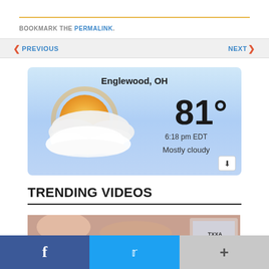BOOKMARK THE PERMALINK.
< PREVIOUS    NEXT >
[Figure (screenshot): Weather widget showing Englewood, OH with 81 degrees, 6:18 pm EDT, Mostly cloudy, with partly cloudy sun icon and blue sky background]
TRENDING VIDEOS
[Figure (photo): Partial thumbnail image of a video, showing a person's face cropped]